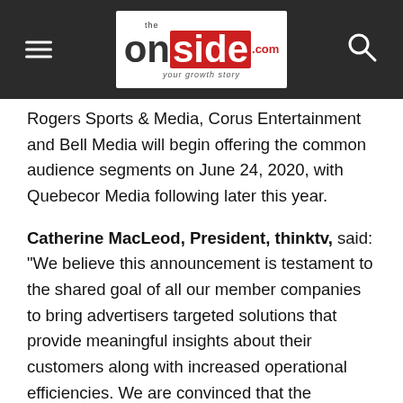The Onside — your growth story
Rogers Sports & Media, Corus Entertainment and Bell Media will begin offering the common audience segments on June 24, 2020, with Quebecor Media following later this year.
Catherine MacLeod, President, thinktv, said: “We believe this announcement is testament to the shared goal of all our member companies to bring advertisers targeted solutions that provide meaningful insights about their customers along with increased operational efficiencies. We are convinced that the adoption of common audience segments helps solve a critical need for advertisers, and other member companies are committed to making it a reality in the coming weeks and months.”
Alan Dark, Chair, thinktv Board of Directors and SVP, Sales, Rogers Sports & Media, said: “Working with thinktv and...